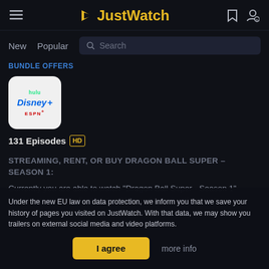JustWatch
New   Popular   Search
BUNDLE OFFERS
[Figure (logo): Hulu Disney+ ESPN+ bundle logo icon]
131 Episodes HD
STREAMING, RENT, OR BUY DRAGON BALL SUPER – SEASON 1:
Currently you are able to watch "Dragon Ball Super - Season 1" streaming on Hulu, Funimation Now or for free with ads on Crunchyroll, VRV. It is also possible to buy "Dragon Ball Super –
Under the new EU law on data protection, we inform you that we save your history of pages you visited on JustWatch. With that data, we may show you trailers on external social media and video platforms.
I agree   more info